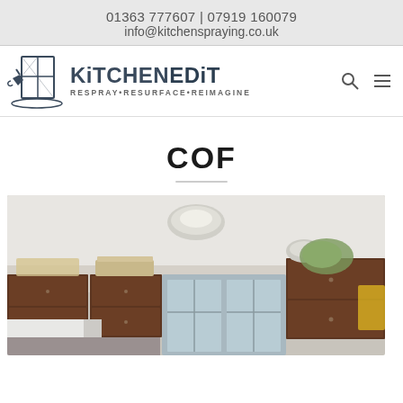01363 777607 | 07919 160079
info@kitchenspraying.co.uk
[Figure (logo): KitchenEdit logo with spray gun and kitchen cabinet graphic, tagline: RESPRAY•RESURFACE•REIMAGINE]
COF
[Figure (photo): Interior photo of a kitchen with dark wooden cabinets, white ceiling with a dome light fixture, and windows in the background. Items are stored on top of the cabinets.]